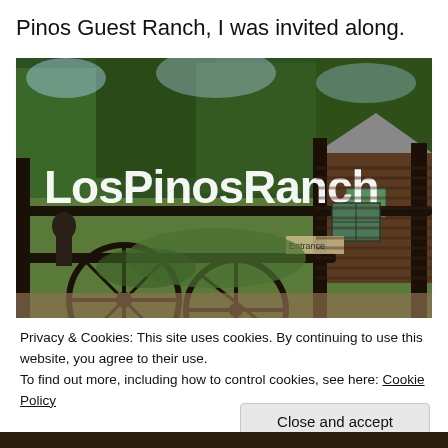Pinos Guest Ranch, I was invited along.
[Figure (photo): Entrance gate of Los Pinos Ranch with large white letters spelling 'LosPinosRanch' on a metal frame gate, with a log cabin and trees in the background. Two wagon wheels visible at the bottom. A sign reading 'Entrance' is mounted on the gate.]
Privacy & Cookies: This site uses cookies. By continuing to use this website, you agree to their use.
To find out more, including how to control cookies, see here: Cookie Policy
Close and accept